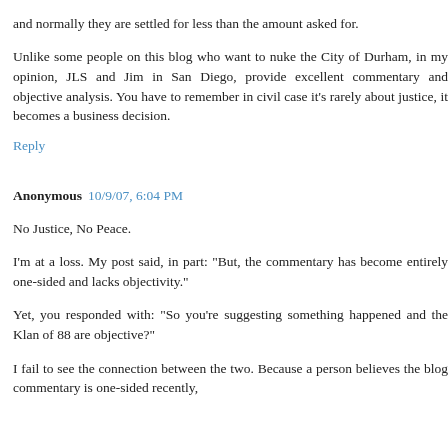and normally they are settled for less than the amount asked for.
Unlike some people on this blog who want to nuke the City of Durham, in my opinion, JLS and Jim in San Diego, provide excellent commentary and objective analysis. You have to remember in civil case it's rarely about justice, it becomes a business decision.
Reply
Anonymous 10/9/07, 6:04 PM
No Justice, No Peace.
I'm at a loss. My post said, in part: "But, the commentary has become entirely one-sided and lacks objectivity."
Yet, you responded with: "So you're suggesting something happened and the Klan of 88 are objective?"
I fail to see the connection between the two. Because a person believes the blog commentary is one-sided recently,